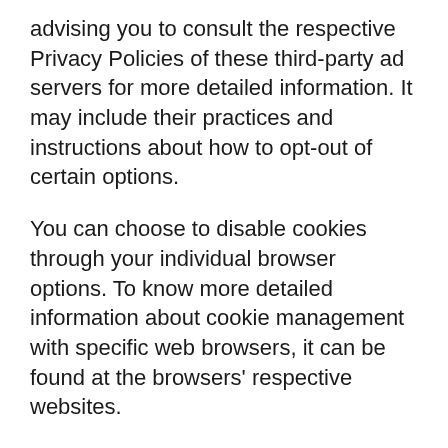advising you to consult the respective Privacy Policies of these third-party ad servers for more detailed information. It may include their practices and instructions about how to opt-out of certain options.
You can choose to disable cookies through your individual browser options. To know more detailed information about cookie management with specific web browsers, it can be found at the browsers' respective websites.
CCPA Privacy Rights (Do Not Sell My Personal Information)
Under the CCPA, among other rights, California consumers have the right to: